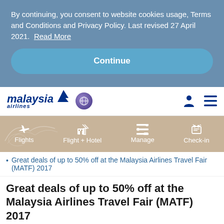By continuing, you consent to website cookies usage, Terms and Conditions and Privacy Policy. Last revised 27 April 2021. Read More
Continue
[Figure (logo): Malaysia Airlines logo with oneworld symbol, user icon and hamburger menu]
[Figure (infographic): Navigation menu bar with Flights, Flight + Hotel, Manage, Check-in icons on tan/beige background with decorative bird illustration]
Great deals of up to 50% off at the Malaysia Airlines Travel Fair (MATF) 2017
Great deals of up to 50% off at the Malaysia Airlines Travel Fair (MATF) 2017
KLIA, 6 September 2017: Malaysia Airlines Travel Fair (MATF) is set to excite travellers this month